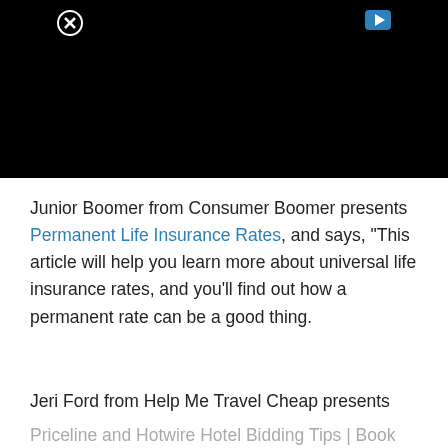[Figure (screenshot): Black video player area with a close (X) button in the top-left and a play button icon in the top-right]
Junior Boomer from Consumer Boomer presents Permanent Life Insurance Rates, and says, “This article will help you learn more about universal life insurance rates, and you’ll find out how a permanent rate can be a good thing.
Jeri Ford from Help Me Travel Cheap presents
Priceline and Hotwire Hotel Bidding Tips | Book Early or Book Late?, and says, “Bid early or bid